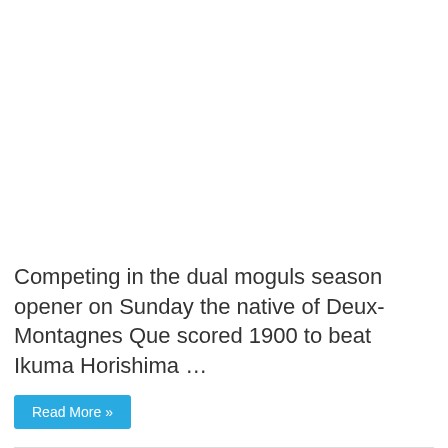Competing in the dual moguls season opener on Sunday the native of Deux-Montagnes Que scored 1900 to beat Ikuma Horishima …
Read More »
Feyenoord Ajax Pratto
wallpaper   146